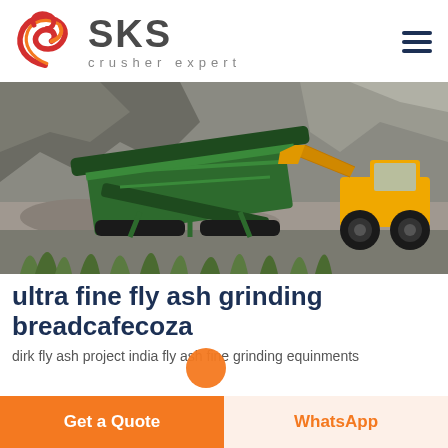[Figure (logo): SKS Crusher Expert logo with red swirl graphic and grey SKS text]
[Figure (photo): Large green mobile screening/crushing machine in a quarry with rocky hillside background and yellow CAT wheel loader on the right]
ultra fine fly ash grinding breadcafecoza
dirk fly ash project india fly ash fine grinding equinments
Get a Quote
WhatsApp